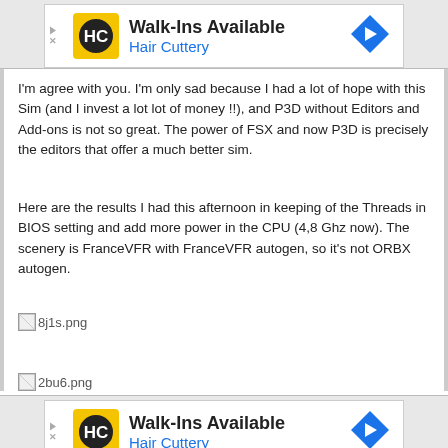[Figure (other): Hair Cuttery advertisement banner: Walk-Ins Available, Hair Cuttery logo (yellow background with HC monogram), blue direction sign arrow icon]
I'm agree with you. I'm only sad because I had a lot of hope with this Sim (and I invest a lot lot of money !!), and P3D without Editors and Add-ons is not so great. The power of FSX and now P3D is precisely the editors that offer a much better sim.
Here are the results I had this afternoon in keeping of the Threads in BIOS setting and add more power in the CPU (4,8 Ghz now). The scenery is FranceVFR with FranceVFR autogen, so it's not ORBX autogen.
[Figure (other): Broken image placeholder: 8j1s.png]
[Figure (other): Broken image placeholder: 2bu6.png]
[Figure (other): Hair Cuttery advertisement banner (bottom): Walk-Ins Available, Hair Cuttery logo (yellow background with HC monogram), blue direction sign arrow icon]